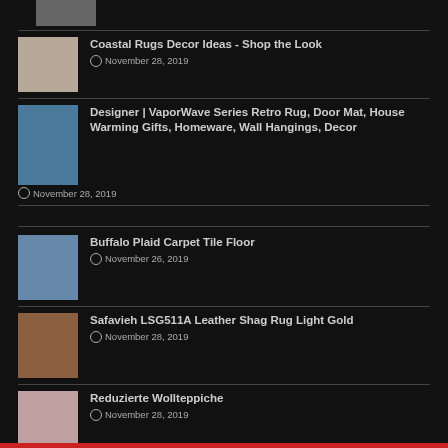[Figure (photo): Top partial thumbnail image - dark gray]
Coastal Rugs Decor Ideas - Shop the Look
November 28, 2019
Designer | VaporWave Series Retro Rug, Door Mat, House Warming Gifts, Homeware, Wall Hangings, Decor
November 28, 2019
Buffalo Plaid Carpet Tile Floor
November 26, 2019
Safavieh LSG511A Leather Shag Rug Light Gold
November 28, 2019
Reduzierte Wollteppiche
November 28, 2019